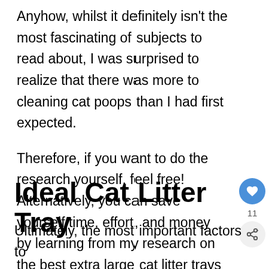Anyhow, whilst it definitely isn't the most fascinating of subjects to read about, I was surprised to realize that there was more to cleaning cat poops than I had first expected.

Therefore, if you want to do the research yourself, feel free! Alternatively, you can save yourself time, effort, and money by learning from my research on the best extra large cat litter trays available in 2020.
Ideal Cat Litter Tray
Ultimately, the most important factors to